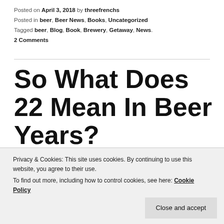Posted on April 3, 2018 by threefrenchs
Posted in beer, Beer News, Books, Uncategorized
Tagged beer, Blog, Book, Brewery, Getaway, News.
2 Comments
So What Does 22 Mean In Beer Years?
[Figure (photo): Partial photo strip visible at the bottom area, partially obscured by cookie consent bar]
Privacy & Cookies: This site uses cookies. By continuing to use this website, you agree to their use.
To find out more, including how to control cookies, see here: Cookie Policy